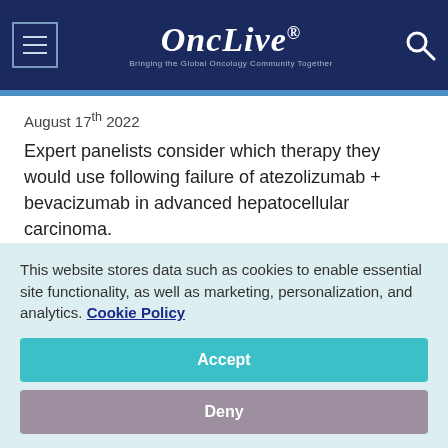OncLive® — Bringing the Global Oncology Community Together
August 17th 2022
Expert panelists consider which therapy they would use following failure of atezolizumab + bevacizumab in advanced hepatocellular carcinoma.
[Figure (photo): Person in suit standing indoors near large windows]
Selecting Therapy for Advanced HCC Following
This website stores data such as cookies to enable essential site functionality, as well as marketing, personalization, and analytics. Cookie Policy
Accept
Deny